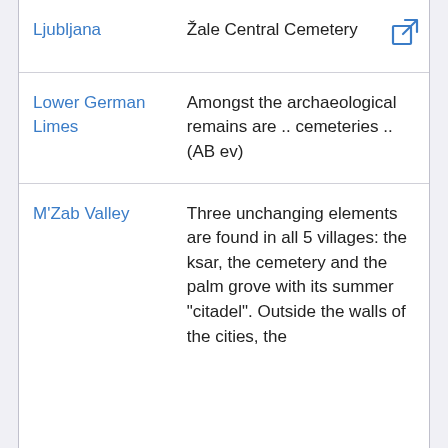| Location | Description | Link |
| --- | --- | --- |
| Ljubljana | Žale Central Cemetery |  |
| Lower German Limes | Amongst the archaeological remains are .. cemeteries .. (AB ev) |  |
| M'Zab Valley | Three unchanging elements are found in all 5 villages: the ksar, the cemetery and the palm grove with its summer "citadel". Outside the walls of the cities, the |  |